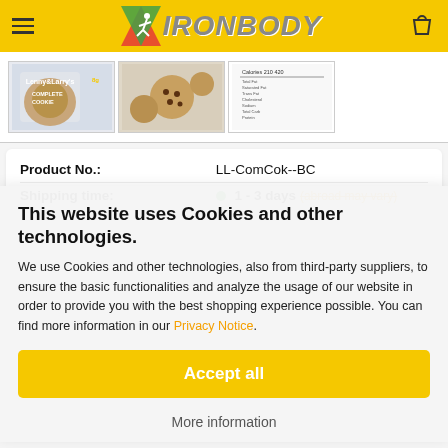[Figure (logo): IronBody website header with yellow background, hamburger menu, IronBody logo with figure icon and metallic text, and shopping cart icon]
[Figure (photo): Three product thumbnail images of Lenny & Larry's Complete Cookie - Birthday Cake flavor, showing packaging, cookies, and nutrition label]
| Product No.: | LL-ComCok--BC |
| Shipping time: | 1 - 3 days  (abroad may vary) |
This website uses Cookies and other technologies.
We use Cookies and other technologies, also from third-party suppliers, to ensure the basic functionalities and analyze the usage of our website in order to provide you with the best shopping experience possible. You can find more information in our Privacy Notice.
Accept all
More information